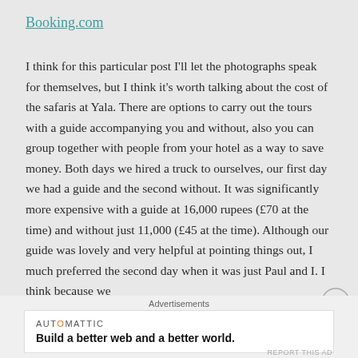Booking.com
I think for this particular post I'll let the photographs speak for themselves, but I think it's worth talking about the cost of the safaris at Yala. There are options to carry out the tours with a guide accompanying you and without, also you can group together with people from your hotel as a way to save money. Both days we hired a truck to ourselves, our first day we had a guide and the second without. It was significantly more expensive with a guide at 16,000 rupees (£70 at the time) and without just 11,000 (£45 at the time). Although our guide was lovely and very helpful at pointing things out, I much preferred the second day when it was just Paul and I. I think because we
Advertisements
[Figure (other): Automattic advertisement banner: 'Build a better web and a better world.']